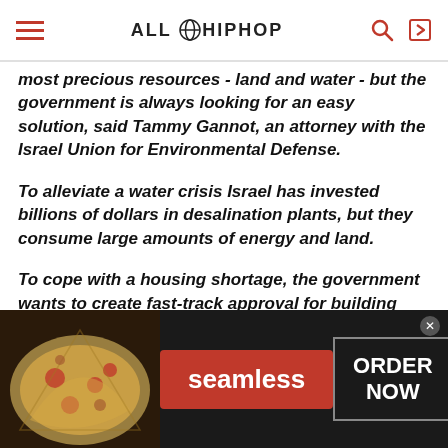ALL HIP HOP
most precious resources - land and water - but the government is always looking for an easy solution, said Tammy Gannot, an attorney with the Israel Union for Environmental Defense.
To alleviate a water crisis Israel has invested billions of dollars in desalination plants, but they consume large amounts of energy and land.
To cope with a housing shortage, the government wants to create fast-track approval for building permits that critics say will put aside environmental concerns without considering infrastructure and public space needs.
[Figure (infographic): Advertisement banner for Seamless food delivery: pizza image on left, red Seamless button in center, ORDER NOW text box on right, dark background]